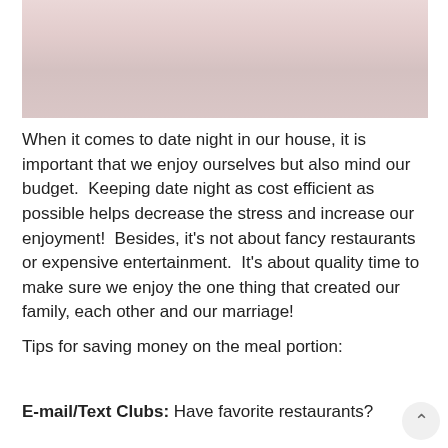[Figure (photo): Blurred/faded photo of a couple, romantic/intimate scene, shown at top of page]
When it comes to date night in our house, it is important that we enjoy ourselves but also mind our budget.  Keeping date night as cost efficient as possible helps decrease the stress and increase our enjoyment!  Besides, it's not about fancy restaurants or expensive entertainment.  It's about quality time to make sure we enjoy the one thing that created our family, each other and our marriage!
Tips for saving money on the meal portion:
E-mail/Text Clubs: Have favorite restaurants?